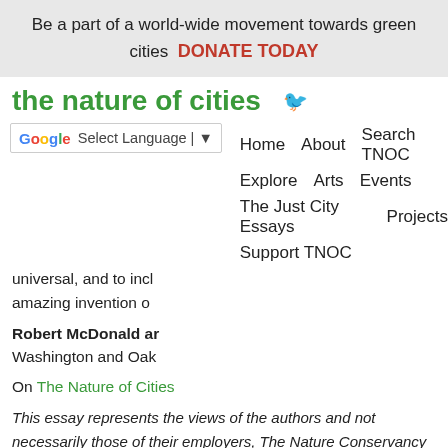Be a part of a world-wide movement towards green cities   DONATE TODAY
the nature of cities
universal, and to incl amazing invention o
Robert McDonald ar Washington and Oak
On The Nature of Cities
This essay represents the views of the authors and not necessarily those of their employers, The Nature Conservancy and the San Francisco Estuary Institute.
[Figure (photo): Partial photo visible at bottom of page]